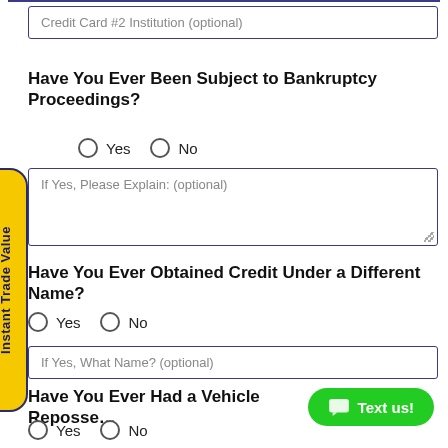Credit Card #2 Institution (optional)
Have You Ever Been Subject to Bankruptcy Proceedings?
Yes  No
If Yes, Please Explain: (optional)
Have You Ever Obtained Credit Under a Different Name?
Yes  No
If Yes, What Name? (optional)
Have You Ever Had a Vehicle Repossessed?
Yes  No